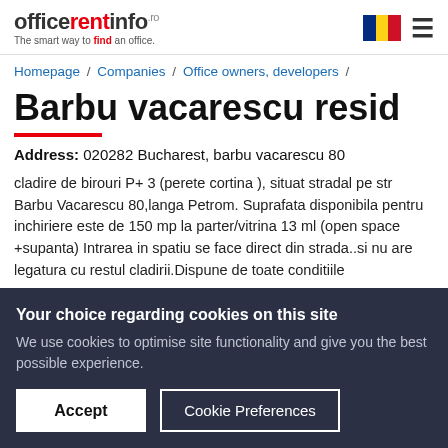officerentinfo.ro — The smart way to find an office.
Homepage / Companies / Office owners, developers /
Barbu vacarescu resid
Address: 020282 Bucharest, barbu vacarescu 80
cladire de birouri P+ 3 (perete cortina ), situat stradal pe str Barbu Vacarescu 80,langa Petrom. Suprafata disponibila pentru inchiriere este de 150 mp la parter/vitrina 13 ml (open space +supanta) Intrarea in spatiu se face direct din strada..si nu are legatura cu restul cladirii.Dispune de toate conditiile
Your choice regarding cookies on this site
We use cookies to optimise site functionality and give you the best possible experience.
Accept | Cookie Preferences